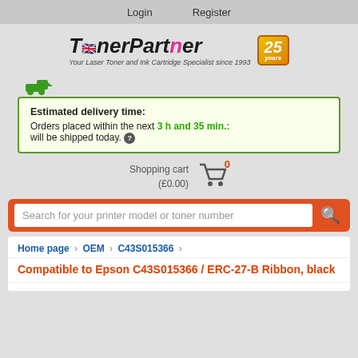Login   Register
[Figure (logo): TonerPartner logo with UK flag, tagline 'Your Laser Toner and Ink Cartridge Specialist since 1993' and 25 years badge]
Estimated delivery time: Orders placed within the next 3 h and 35 min.: will be shipped today.
Shopping cart 0 (£0.00)
Search for your printer model or toner number
Home page › OEM › C43S015366 ›
Compatible to Epson C43S015366 / ERC-27-B Ribbon, black